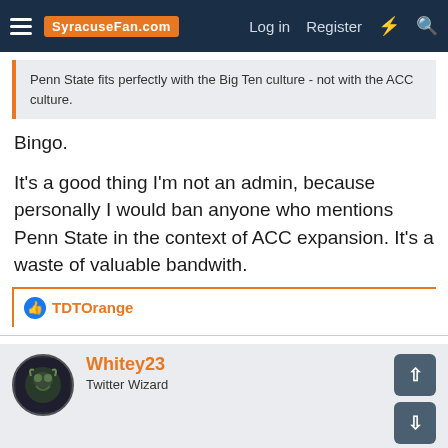SyracuseFan.com — Log in  Register
Penn State fits perfectly with the Big Ten culture - not with the ACC culture.
Bingo.

It's a good thing I'm not an admin, because personally I would ban anyone who mentions Penn State in the context of ACC expansion. It's a waste of valuable bandwith.
TDTOrange
Whitey23
Twitter Wizard
Sep 18, 2011  #6